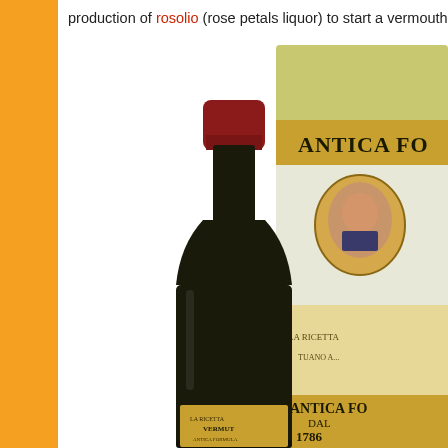production of rosolio (rose petals liquor) to start a vermouth o
[Figure (photo): A dark wine bottle with a red wax-sealed top and an ornate gold label reading 'ANTICA FO...' (Antica Formula vermouth), alongside a cylindrical gift box with yellow-green decorative label also reading 'ANTICA FO...' featuring a portrait medallion and the date 1786, with text 'GIUSEPPE B. C...' visible.]